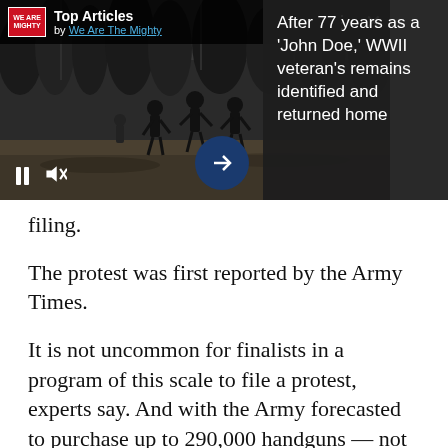[Figure (screenshot): A news app overlay banner showing 'Top Articles by We Are The Mighty' with a black-and-white photo of soldiers running in a field. The right side shows a dark panel with headline: 'After 77 years as a John Doe, WWII veteran's remains identified and returned home'. Bottom controls show pause and mute icons and a dark blue circular arrow button.]
filing.
The protest was first reported by the Army Times.
It is not uncommon for finalists in a program of this scale to file a protest, experts say. And with the Army forecasted to purchase up to 290,000 handguns — not to mention